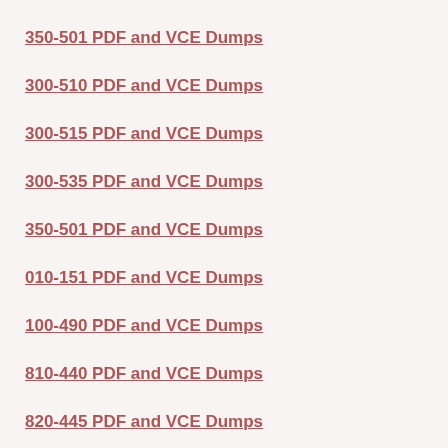350-501 PDF and VCE Dumps
300-510 PDF and VCE Dumps
300-515 PDF and VCE Dumps
300-535 PDF and VCE Dumps
350-501 PDF and VCE Dumps
010-151 PDF and VCE Dumps
100-490 PDF and VCE Dumps
810-440 PDF and VCE Dumps
820-445 PDF and VCE Dumps